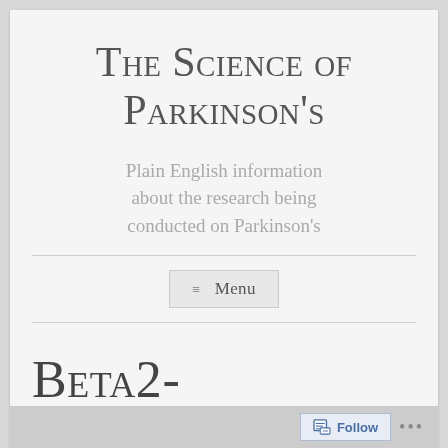The Science of Parkinson's
Plain English information about the research being conducted on Parkinson's
≡ Menu
Beta2-
Follow ...